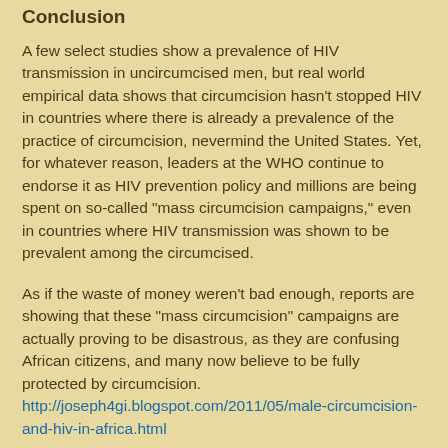Conclusion
A few select studies show a prevalence of HIV transmission in uncircumcised men, but real world empirical data shows that circumcision hasn't stopped HIV in countries where there is already a prevalence of the practice of circumcision, nevermind the United States. Yet, for whatever reason, leaders at the WHO continue to endorse it as HIV prevention policy and millions are being spent on so-called "mass circumcision campaigns," even in countries where HIV transmission was shown to be prevalent among the circumcised.
As if the waste of money weren't bad enough, reports are showing that these "mass circumcision" campaigns are actually proving to be disastrous, as they are confusing African citizens, and many now believe to be fully protected by circumcision. http://joseph4gi.blogspot.com/2011/05/male-circumcision-and-hiv-in-africa.html
Something must be done to alert our world leaders. Millions of precious funds are being used to promote a worthless